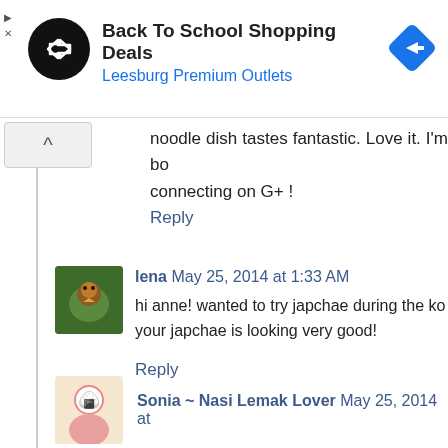[Figure (infographic): Advertisement banner for Back To School Shopping Deals at Leesburg Premium Outlets with logo and navigation arrow icon]
noodle dish tastes fantastic. Love it. I'm bo connecting on G+ !
Reply
lena May 25, 2014 at 1:33 AM
hi anne! wanted to try japchae during the ko your japchae is looking very good!
Reply
Sonia ~ Nasi Lemak Lover May 25, 2014 at